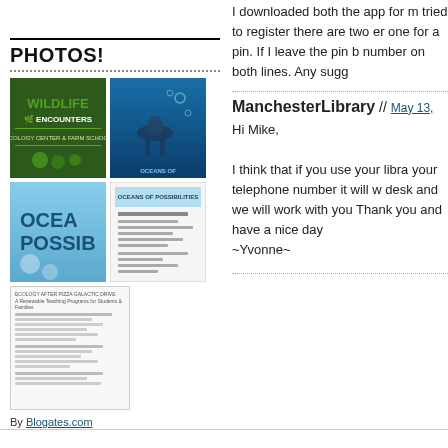PHOTOS!
[Figure (photo): Photo grid with 4 thumbnail images: Wildlife Encounters Ecology Center & Farm School logo, Oceans of Possibilities diver photo, Oceans of Possibilities cover partial, and a document/flyer thumbnail. Plus one document thumbnail below.]
By Blogates.com
I downloaded both the app for m tried to register there are two er one for a pin. If I leave the pin b number on both lines. Any sugg
ManchesterLibrary // May 13,
Hi Mike,
I think that if you use your libra your telephone number it will w desk and we will work with you Thank you and have a nice day ~Yvonne~